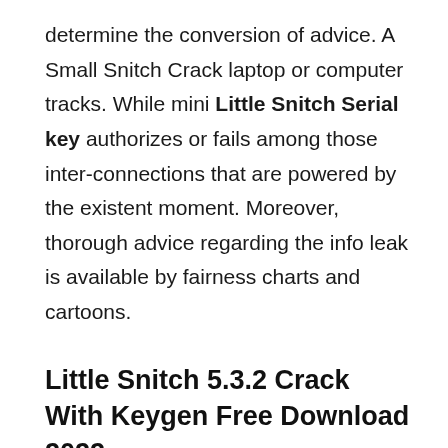determine the conversion of advice. A Small Snitch Crack laptop or computer tracks. While mini Little Snitch Serial key authorizes or fails among those inter-connections that are powered by the existent moment. Moreover, thorough advice regarding the info leak is available by fairness charts and cartoons.
Little Snitch 5.3.2 Crack With Keygen Free Download 2022 ...
You may even recognize which app needs to get into the worldwide web-service in addition to that isn't. It can definitely save only about most of your